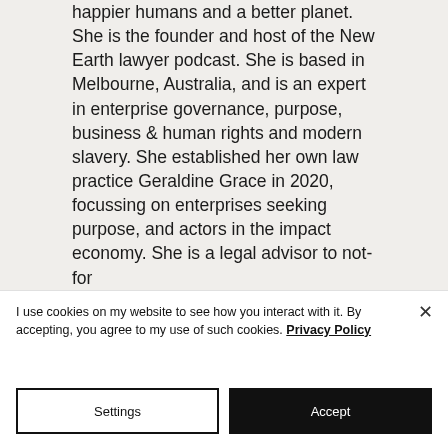happier humans and a better planet. She is the founder and host of the New Earth lawyer podcast. She is based in Melbourne, Australia, and is an expert in enterprise governance, purpose, business & human rights and modern slavery. She established her own law practice Geraldine Grace in 2020, focussing on enterprises seeking purpose, and actors in the impact economy. She is a legal advisor to not-for
I use cookies on my website to see how you interact with it. By accepting, you agree to my use of such cookies. Privacy Policy
Settings
Accept